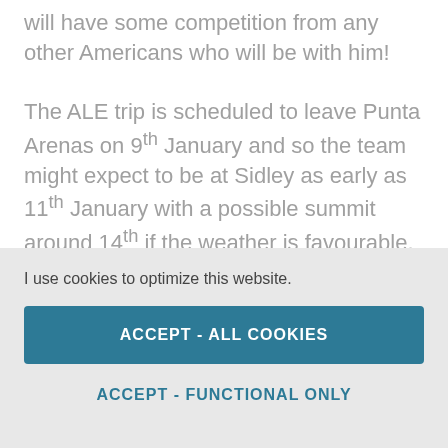will have some competition from any other Americans who will be with him! The ALE trip is scheduled to leave Punta Arenas on 9th January and so the team might expect to be at Sidley as early as 11th January with a possible summit around 14th if the weather is favourable. More likely a summit attempt will be a couple of days later. With such a large team I am assuming that they will travel
I use cookies to optimize this website.
ACCEPT - ALL COOKIES
ACCEPT - FUNCTIONAL ONLY